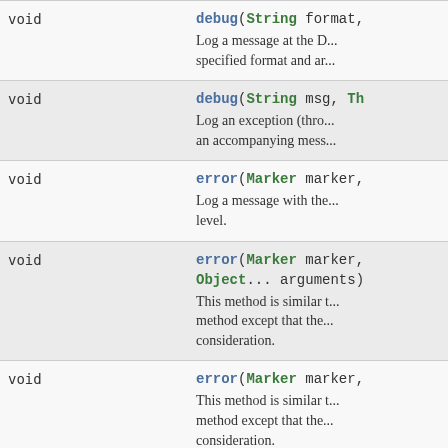| Type | Method and Description |
| --- | --- |
| void | debug(String format, ...
Log a message at the D... specified format and ar... |
| void | debug(String msg, Th...
Log an exception (throw... an accompanying mess... |
| void | error(Marker marker, ...
Log a message with the... level. |
| void | error(Marker marker, ...
Object... arguments)
This method is similar t... method except that the... consideration. |
| void | error(Marker marker, ...
This method is similar t... method except that the... consideration. |
| void | (Ma... |